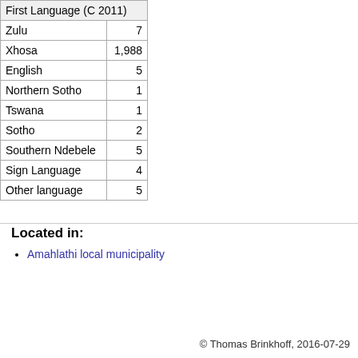| First Language (C 2011) |  |
| --- | --- |
| Zulu | 7 |
| Xhosa | 1,988 |
| English | 5 |
| Northern Sotho | 1 |
| Tswana | 1 |
| Sotho | 2 |
| Southern Ndebele | 5 |
| Sign Language | 4 |
| Other language | 5 |
Located in:
Amahlathi local municipality
[Figure (infographic): Navigation bar with home icon (white house on teal background), several teal cells, one red cell, one dark blue cell, one light blue cell, and one teal cell]
© Thomas Brinkhoff, 2016-07-29